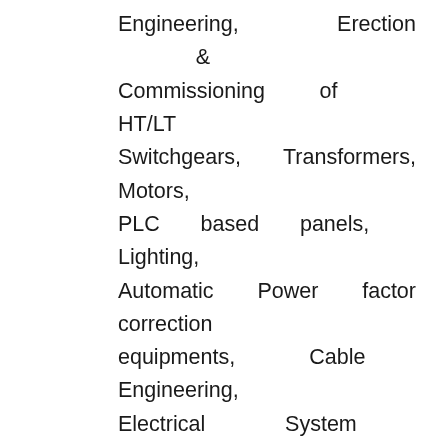Engineering, Erection & Commissioning of HT/LT Switchgears, Transformers, Motors, PLC based panels, Lighting, Automatic Power factor correction equipments, Cable Engineering, Electrical System Engineering. Candidate should be aware of software such as MS Project, Primavera, AutoCAD 2D & 3D etc.
Salary
Rs. 33,750/- P.M